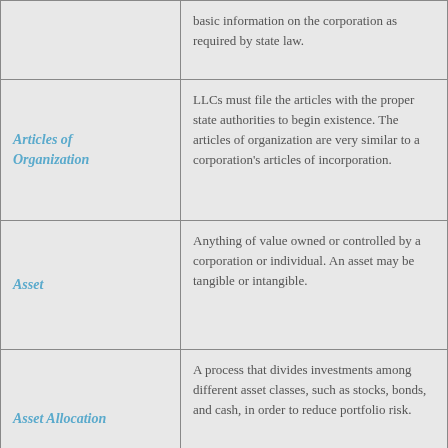| Term | Definition |
| --- | --- |
|  | basic information on the corporation as required by state law. |
| Articles of Organization | LLCs must file the articles with the proper state authorities to begin existence. The articles of organization are very similar to a corporation's articles of incorporation. |
| Asset | Anything of value owned or controlled by a corporation or individual. An asset may be tangible or intangible. |
| Asset Allocation | A process that divides investments among different asset classes, such as stocks, bonds, and cash, in order to reduce portfolio risk. |
| Asset Class | A specific category of assets or investments, such as cash, bonds, stocks, or real estate. Assets in the same class have similar characteristics and behave similarly in the... |